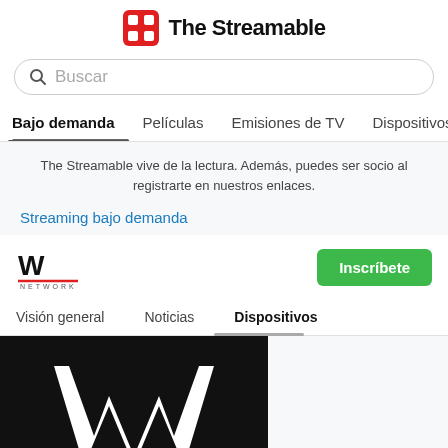The Streamable
Buscar
Bajo demanda  Películas  Emisiones de TV  Dispositivos  V
The Streamable vive de la lectura. Además, puedes ser socio al registrarte en nuestros enlaces.
Streaming bajo demanda
[Figure (logo): WWE Network logo]
Inscríbete
Visión general  Noticias  Dispositivos
[Figure (illustration): WWE logo on black background on the left, Roku logo in purple on the right]
Roku